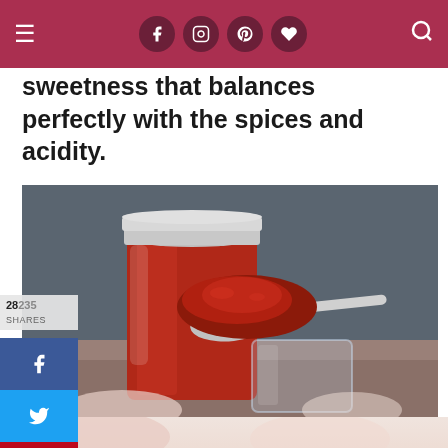Navigation bar with hamburger menu, social icons (Facebook, Instagram, Pinterest, heart), and search icon
sweetness that balances perfectly with the spices and acidity.
[Figure (photo): Photo of homemade tomato/chili sauce in a mason jar with a silver lid, and a small glass jar with a spoon of thick red sauce on top, set against a dark grey background]
28235
Shares
[Figure (infographic): Social share sidebar with Facebook (blue), Twitter (light blue), and Pinterest (red) share buttons]